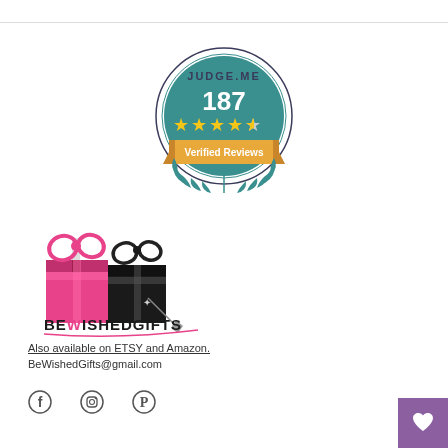[Figure (logo): Judge.me badge showing 187 verified reviews with 4.5 star rating, teal circular badge with orange banner and laurel wreath]
[Figure (logo): BeWishedGifts logo with pink and black gift boxes and brand name text]
Also available on ETSY and Amazon.
BeWishedGifts@gmail.com
[Figure (other): Social media icons: Facebook, Instagram, Pinterest]
[Figure (other): Purple wishlist heart button in bottom right corner]